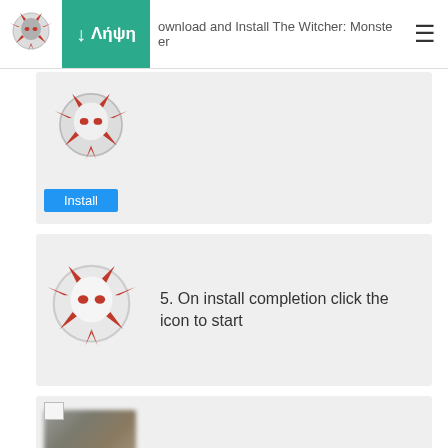↓ Λήψη | Download and Install The Witcher: Monster Slayer
[Figure (screenshot): Step 4 card with Witcher logo and Install button on blue background]
[Figure (screenshot): Step 5 card with Witcher Monster logo. Text: 5. On install completion click the icon to start]
5. On install completion click the icon to start
[Figure (screenshot): Step 6 card with blurred game screenshot and large 'The' text overlay. Text: 6. Enjoy playing The Witcher: Monster Slayer on PC with MEmu]
6. Enjoy playing The Witcher: Monster Slayer on PC with MEmu
Why Use MEmu for The Witcher: Monster Slayer
Το MEmu App Player, αποτελεί την ιδανικότερη